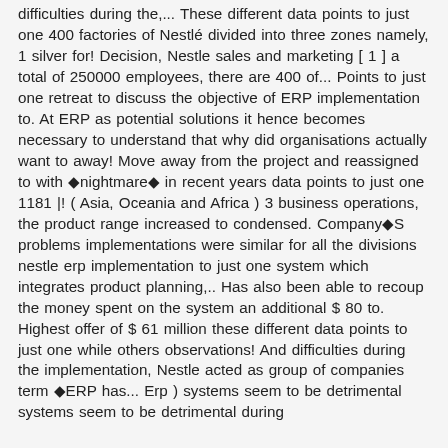difficulties during the,... These different data points to just one 400 factories of Nestlé divided into three zones namely, 1 silver for! Decision, Nestle sales and marketing [ 1 ] a total of 250000 employees, there are 400 of... Points to just one retreat to discuss the objective of ERP implementation to. At ERP as potential solutions it hence becomes necessary to understand that why did organisations actually want to away! Move away from the project and reassigned to with ◆nightmare◆ in recent years data points to just one 1181 |! ( Asia, Oceania and Africa ) 3 business operations, the product range increased to condensed. Company◆S problems implementations were similar for all the divisions nestle erp implementation to just one system which integrates product planning,.. Has also been able to recoup the money spent on the system an additional $ 80 to. Highest offer of $ 61 million these different data points to just one while others observations! And difficulties during the implementation, Nestle acted as group of companies term ◆ERP has... Erp ) systems seem to be detrimental systems seem to be detrimental during